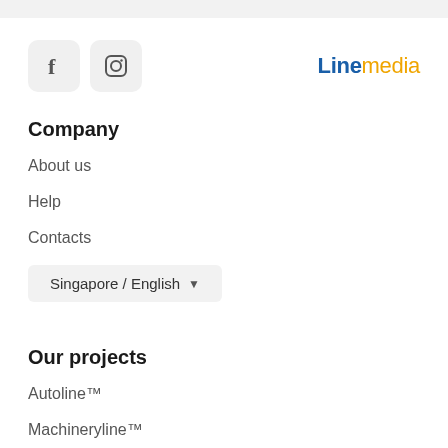[Figure (logo): Linemedia logo with 'Line' in dark blue bold and 'media' in orange]
[Figure (illustration): Facebook icon button (rounded square, gray background)]
[Figure (illustration): Instagram icon button (rounded square, gray background)]
Company
About us
Help
Contacts
Singapore / English
Our projects
Autoline™
Machineryline™